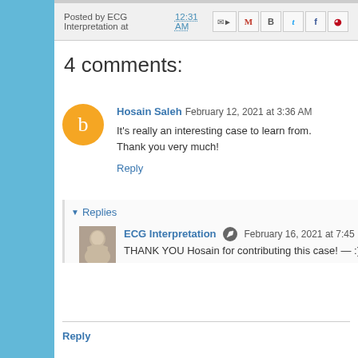Posted by ECG Interpretation at 12:31 AM
4 comments:
Hosain Saleh  February 12, 2021 at 3:36 AM
It's really an interesting case to learn from. Thank you very much!
Reply
Replies
ECG Interpretation  February 16, 2021 at 7:45
THANK YOU Hosain for contributing this case! — :)
Reply